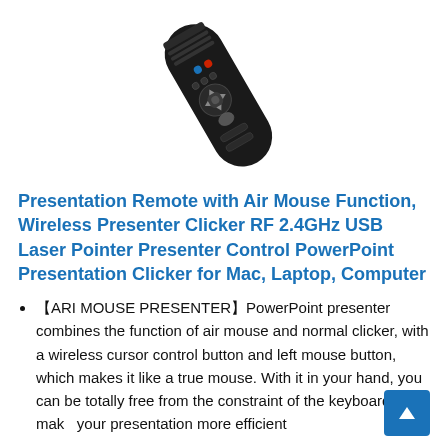[Figure (photo): A wireless presentation remote/clicker device with air mouse function, shown at an angle against a white background. The device is black with multiple buttons and a blue LED indicator.]
Presentation Remote with Air Mouse Function, Wireless Presenter Clicker RF 2.4GHz USB Laser Pointer Presenter Control PowerPoint Presentation Clicker for Mac, Laptop, Computer
【ARI MOUSE PRESENTER】PowerPoint presenter combines the function of air mouse and normal clicker, with a wireless cursor control button and left mouse button, which makes it like a true mouse. With it in your hand, you can be totally free from the constraint of the keyboard and make your presentation more efficient